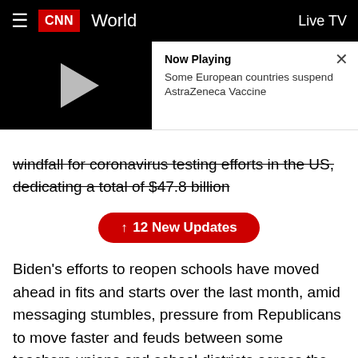CNN World  Live TV
[Figure (screenshot): Video player thumbnail (black background with grey play button) with 'Now Playing' panel showing 'Some European countries suspend AstraZeneca Vaccine' and a close X button]
windfall for coronavirus testing efforts in the US, dedicating a total of $47.8 billion
↑ 12 New Updates
Biden's efforts to reopen schools have moved ahead in fits and starts over the last month, amid messaging stumbles, pressure from Republicans to move faster and feuds between some teachers unions and school districts across the country.
12:06 p.m. ET, March 17, 2021
UK health officials say more than 25